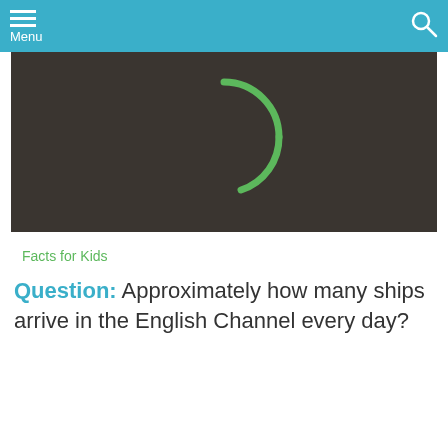Menu
[Figure (screenshot): Dark video player area with a green loading spinner arc visible at top center]
Facts for Kids
Question: Approximately how many ships arrive in the English Channel every day?